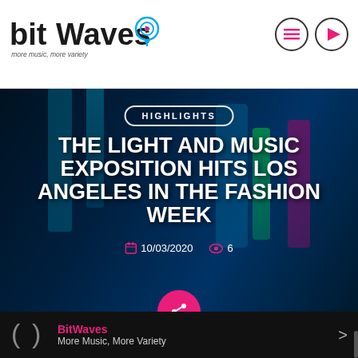bitWaves — more music, more variety
[Figure (screenshot): Science/lab background image with test tubes and chemical formulas overlaid, dark blue tones, serving as hero background for music/entertainment article]
HIGHLIGHTS
THE LIGHT AND MUSIC EXPOSITION HITS LOS ANGELES IN THE FASHION WEEK
10/03/2020  6
BitWaves
More Music, More Variety